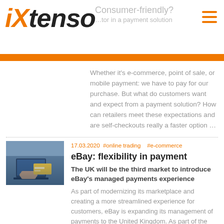[Figure (logo): iXtenso logo with orange i and X, bold italic black tenso text]
Consumer-friendly?
...tor in a payment solution
Whether it's e-commerce, point of sale, or mobile payment: we have to pay for our purchase. But what do customers want and expect from a payment solution? How can retailers meet these expectations and are self-checkouts really a faster option ...
[Figure (photo): Person using laptop and holding credit card]
17.03.2020  #online trading    #e-commerce
eBay: flexibility in payment
The UK will be the third market to introduce eBay's managed payments experience
As part of modernizing its marketplace and creating a more streamlined experience for customers, eBay is expanding its management of payments to the United Kingdom. As part of the rollout this summer, the company will offer buyers flexibility and ...